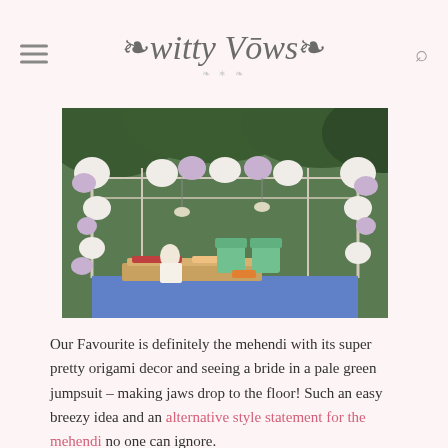witty Vows
[Figure (photo): Outdoor wedding mehendi decor setup with floral arch of white and purple flowers, green chairs, and a person seated on a blue floor mat in a garden setting.]
Our Favourite is definitely the mehendi with its super pretty origami decor and seeing a bride in a pale green jumpsuit – making jaws drop to the floor! Such an easy breezy idea and an alternative style statement for the mehendi no one can ignore.